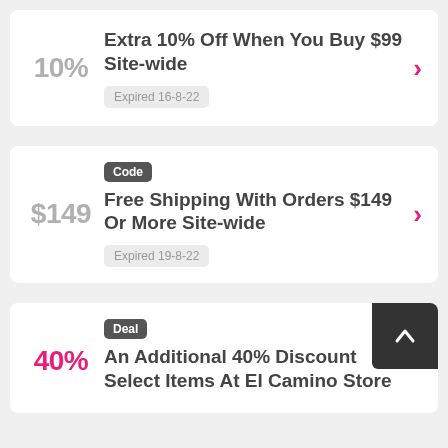10%
Extra 10% Off When You Buy $99 Site-wide
Expired 16-8-22
Code
$149
Free Shipping With Orders $149 Or More Site-wide
Expired 19-8-22
Deal
40%
An Additional 40% Discount Select Items At El Camino Store